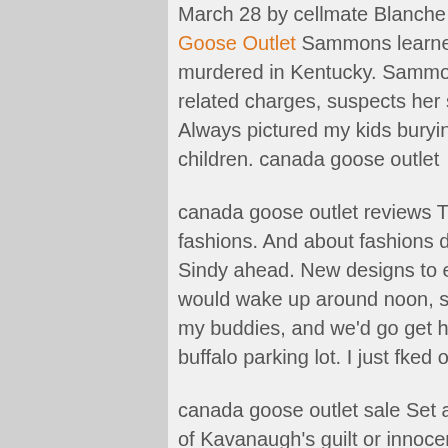March 28 by cellmate Blanche Barr, 30, days after Canada Goose Outlet Sammons learned that her 20 year old son was murdered in Kentucky. Sammons, who was arrested on drug related charges, suspects her son murder was drug related. Always pictured my kids burying me, not me having to bury my children. canada goose outlet
canada goose outlet reviews These were the lowest priced fashions. And about fashions described as fashions that put Sindy ahead. New designs to excite collectors. In August. I would wake up around noon, saunter into high school just to see my buddies, and we'd go get high in the canada goose outlet buffalo parking lot. I just fked off. canada goose outlet reviews
canada goose outlet sale Set aside for a moment the question of Kavanaugh's guilt or innocence. That depends on the facts of the case (or cases), which should canada goose outlet store quebec be carefully and fairly examined. The question I have for my liberal friends is different: Has Hirono let slip what you really think when people people like me tell they you their indisputable claims...